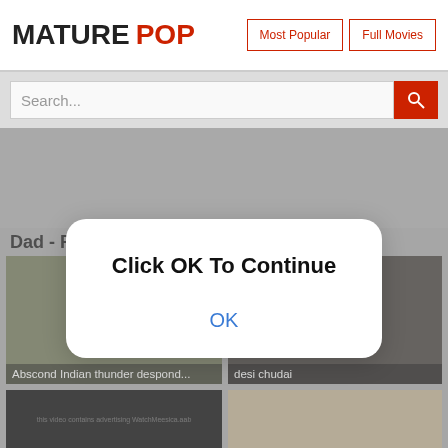MATURE POP | Most Popular | Full Movies
Search...
Dad - Pop Mature Porn
[Figure (screenshot): Blurred video thumbnail - Abscond Indian thunder despond...]
[Figure (screenshot): Blurred video thumbnail - desi chudai]
[Figure (screenshot): Dark video thumbnail with watermark text]
[Figure (screenshot): Video thumbnail - light colored]
Click OK To Continue
OK